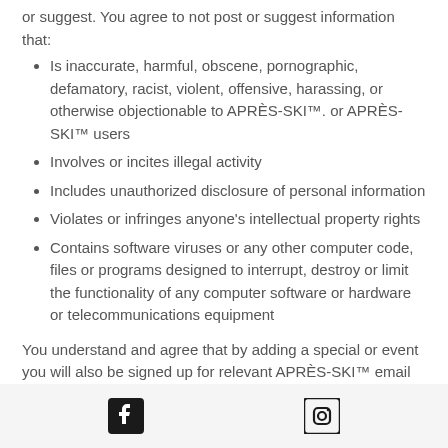or suggest. You agree to not post or suggest information that:
Is inaccurate, harmful, obscene, pornographic, defamatory, racist, violent, offensive, harassing, or otherwise objectionable to APRÈS-SKI™. or APRÈS-SKI™ users
Involves or incites illegal activity
Includes unauthorized disclosure of personal information
Violates or infringes anyone's intellectual property rights
Contains software viruses or any other computer code, files or programs designed to interrupt, destroy or limit the functionality of any computer software or hardware or telecommunications equipment
You understand and agree that by adding a special or event you will also be signed up for relevant APRÈS-SKI™ email lists to receive notifications and promotional emails. You
Facebook icon | Instagram icon